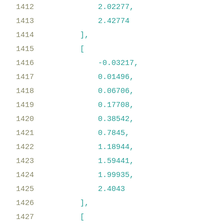1412    2.02277,
1413    2.42774
1414  ],
1415  [
1416    -0.03217,
1417    0.01496,
1418    0.06706,
1419    0.17708,
1420    0.38542,
1421    0.7845,
1422    1.18944,
1423    1.59441,
1424    1.99935,
1425    2.4043
1426  ],
1427  [
1428    -0.04973,
1429    -0.00846,
1430    0.04947,
1431    0.15949,
1432    0.36783,